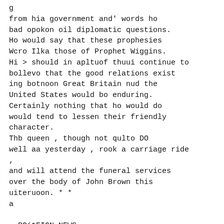g
from hia government and' words ho
bad opokon oil diplomatic questions.
Ho would say that these prophesies
Wcro Ilka those of Prophet Wiggins.
Hi > should in apltuof thuui continue to
bollevo that the good relations exist
ing botnoon Great Britain nud the
United States would bo enduring.
Certainly nothing that ho would do
would tend to lessen their friendly
character.
Thb queen , though not qulto DO
well aa yesterday , rook a carriage ride
,
and will attend the funeral services
over the body of John Brown this
uiteruoon. * *
a
. POitEIGN NEWS.